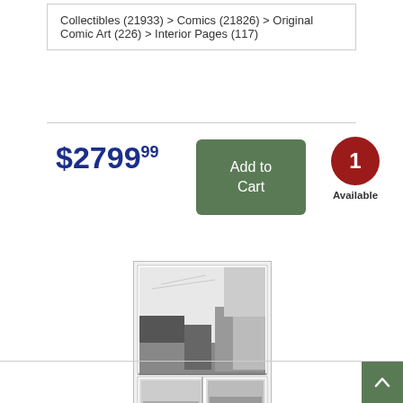Collectibles (21933) > Comics (21826) > Original Comic Art (226) > Interior Pages (117)
$2799.99
Add to Cart
1 Available
[Figure (photo): Black and white original comic art interior page showing action scenes with multiple panels]
Full Size Images